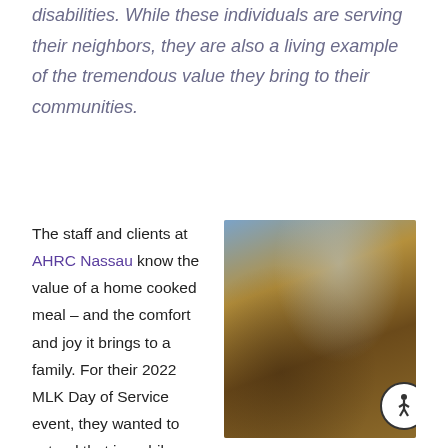disabilities. While these individuals are serving their neighbors, they are also a living example of the tremendous value they bring to their communities.
The staff and clients at AHRC Nassau know the value of a home cooked meal – and the comfort and joy it brings to a family. For their 2022 MLK Day of Service event, they wanted to extend that joy while offering tangible food assistance to their community in
[Figure (photo): Photo of people with disabilities around a dining table in a home setting; one person is in a wheelchair. An accessibility icon (person in circle) appears in the lower right corner of the image.]